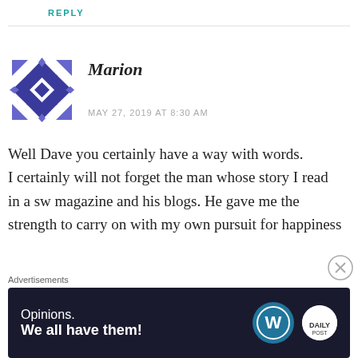REPLY
[Figure (illustration): Geometric quilt-pattern avatar icon in blue and purple tones]
Marion
MAY 27, 2019 AT 8:30 AM
Well Dave you certainly have a way with words.
I certainly will not forget the man whose story I read in a sw magazine and his blogs. He gave me the strength to carry on with my own pursuit for happiness
Advertisements
[Figure (infographic): WordPress advertisement banner: dark navy background with text 'Opinions. We all have them!' and WordPress logo plus a small circular logo on the right]